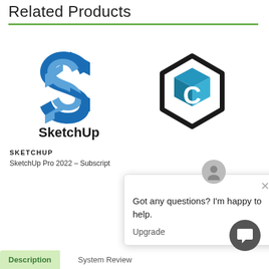Related Products
[Figure (logo): SketchUp logo — blue stylized S shape]
SKETCHUP
SketchUp Pro 2022 – Subscript
[Figure (logo): CineRender/C4D logo — black hexagon with blue 3D cube and white letter C]
[Figure (screenshot): Chat popup overlay with avatar icon, X close button, text 'Got any questions? I'm happy to help.' and 'Upgrade' link]
Description
System Review